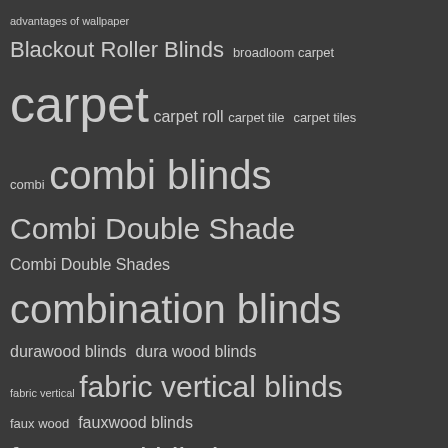[Figure (infographic): Tag cloud / word cloud on dark background featuring window blind and flooring related search terms. Terms vary in font size indicating frequency/popularity. Terms include: advantages of wallpaper, Blackout Roller Blinds, broadloom carpet, carpet, carpet roll, carpet tile, carpet tiles, combi, combi blinds, Combi Double Shade, Combi Double Shades, combination blinds, durawood blinds, dura wood blinds, fabric vertical, fabric vertical blinds, faux wood, fauxwood blinds, faux wood blinds, folding door, french accordion door, miniblinds, Mini Blinds, pvc accordion door, PVC folding door, PVC Vertical, pvc vertical blinds, Real Wood Blinds, real wooden blinds, roller blinds, roller shades, roll up blinds, roll up shades, Sunscreen Roller Shades, venetian blinds.]